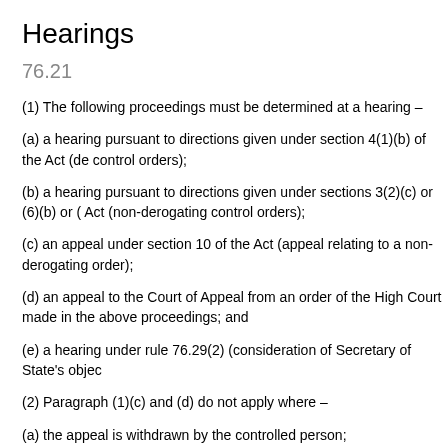Hearings
76.21
(1) The following proceedings must be determined at a hearing –
(a) a hearing pursuant to directions given under section 4(1)(b) of the Act (de control orders);
(b) a hearing pursuant to directions given under sections 3(2)(c) or (6)(b) or ( Act (non-derogating control orders);
(c) an appeal under section 10 of the Act (appeal relating to a non-derogating order);
(d) an appeal to the Court of Appeal from an order of the High Court made in the above proceedings; and
(e) a hearing under rule 76.29(2) (consideration of Secretary of State's objec
(2) Paragraph (1)(c) and (d) do not apply where –
(a) the appeal is withdrawn by the controlled person;